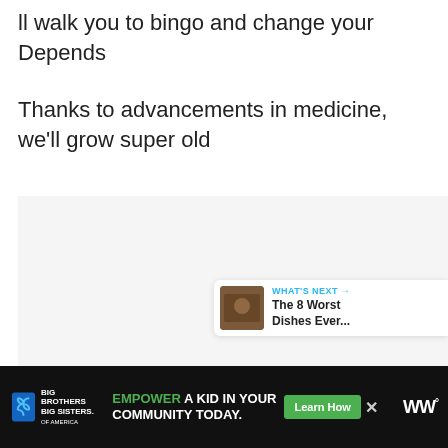ll walk you to bingo and change your Depends
Thanks to advancements in medicine, we'll grow super old
[Figure (screenshot): Gray content area with social interaction buttons: a blue heart/like button, a count of 1, and a share button. A 'WHAT'S NEXT' card shows a thumbnail and 'The 8 Worst Dishes Ever...' text.]
[Figure (infographic): Advertisement bar: Big Brothers Big Sisters logo, 'EMPOWER A KID IN YOUR COMMUNITY TODAY.' text with green 'Learn How' button, and WW logo on right.]